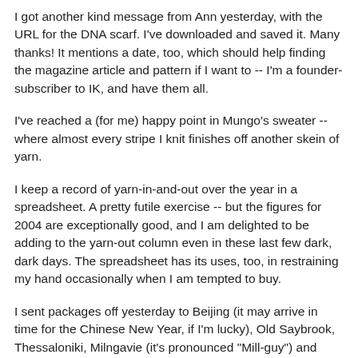I got another kind message from Ann yesterday, with the URL for the DNA scarf. I've downloaded and saved it. Many thanks! It mentions a date, too, which should help finding the magazine article and pattern if I want to -- I'm a founder-subscriber to IK, and have them all.
I've reached a (for me) happy point in Mungo's sweater -- where almost every stripe I knit finishes off another skein of yarn.
I keep a record of yarn-in-and-out over the year in a spreadsheet. A pretty futile exercise -- but the figures for 2004 are exceptionally good, and I am delighted to be adding to the yarn-out column even in these last few dark, dark days. The spreadsheet has its uses, too, in restraining my hand occasionally when I am tempted to buy.
I sent packages off yesterday to Beijing (it may arrive in time for the Chinese New Year, if I'm lucky), Old Saybrook, Thessaloniki, Milngavie (it's pronounced "Mill-guy") and London, spending more thereby, I think, than I had spent on the presents inside. But it's done. Card-writing continues.